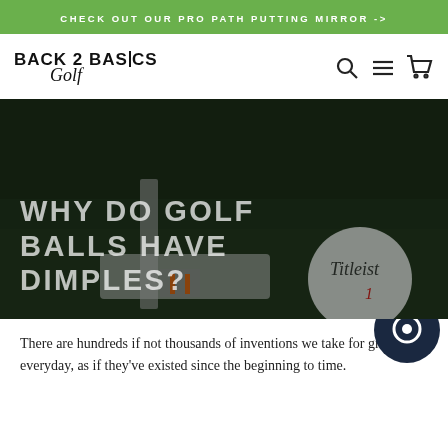CHECK OUT OUR PRO PATH PUTTING MIRROR ->
[Figure (logo): Back 2 Basics Golf logo with golf flag incorporated into the letter I]
[Figure (photo): Dark-toned photo of a putter head next to a Titleist golf ball on a grass green, with text overlay reading WHY DO GOLF BALLS HAVE DIMPLES?]
WHY DO GOLF BALLS HAVE DIMPLES?
There are hundreds if not thousands of inventions we take for granted everyday, as if they've existed since the beginning to time.